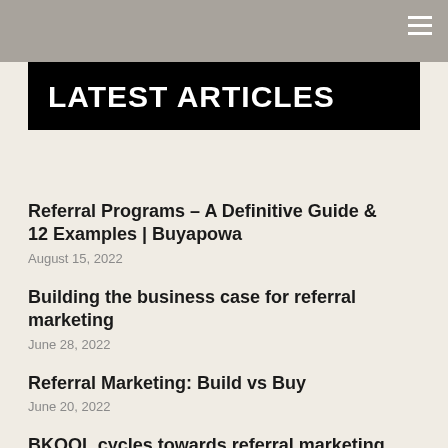☰
LATEST ARTICLES
Referral Programs – A Definitive Guide & 12 Examples | Buyapowa
August 15, 2022
Building the business case for referral marketing
June 28, 2022
Referral Marketing: Build vs Buy
June 20, 2022
BKOOL cycles towards referral marketing
June 15, 2022
How to turn your customers into Brand